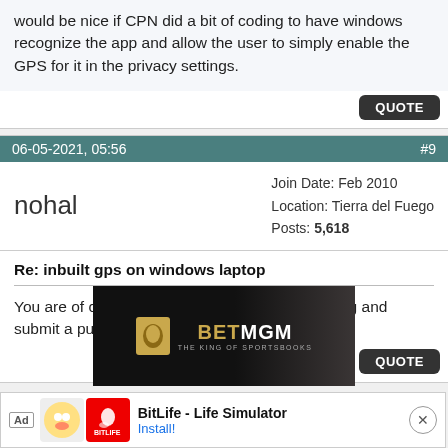would be nice if CPN did a bit of coding to have windows recognize the app and allow the user to simply enable the GPS for it in the privacy settings.
QUOTE
06-05-2021, 05:56
#9
nohal
Join Date: Feb 2010
Location: Tierra del Fuego
Posts: 5,618
Re: inbuilt gps on windows laptop
You are of course welcome to do that bit of coding and submit a pull request.
QUOTE
[Figure (photo): BetMGM advertisement banner with dark background and person in background]
[Figure (infographic): BitLife - Life Simulator app advertisement banner with Ad label, character icons, red BitLife logo, app name and Install button]